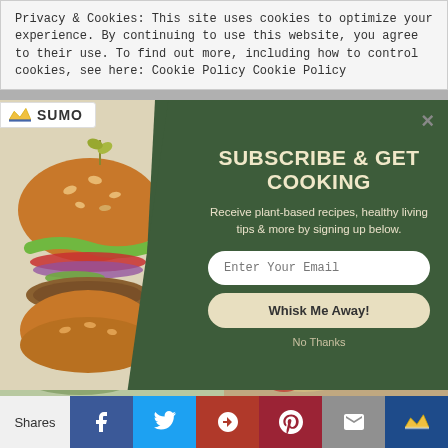Privacy & Cookies: This site uses cookies to optimize your experience. By continuing to use this website, you agree to their use. To find out more, including how to control cookies, see here: Cookie Policy Cookie Policy
[Figure (screenshot): Sumo logo bar with crown icon and SUMO text, and close (x) button]
[Figure (screenshot): Subscribe popup modal with plant-based burger photo on left, dark green right panel with 'SUBSCRIBE & GET COOKING' title, subtitle text, email input field, Whisk Me Away button, and No Thanks link]
SUBSCRIBE & GET COOKING
Receive plant-based recipes, healthy living tips & more by signing up below.
Enter Your Email
Whisk Me Away!
No Thanks
[Figure (photo): Two partial food photos at bottom of page]
Shares